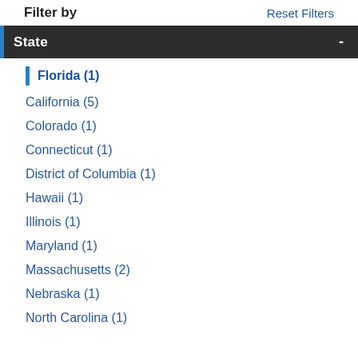Filter by
Reset Filters
State
Florida (1)
California (5)
Colorado (1)
Connecticut (1)
District of Columbia (1)
Hawaii (1)
Illinois (1)
Maryland (1)
Massachusetts (2)
Nebraska (1)
North Carolina (1)